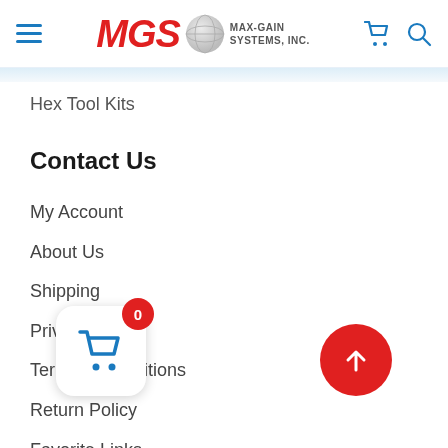MGS MAX-GAIN SYSTEMS, INC.
Hex Tool Kits
Contact Us
My Account
About Us
Shipping
Privacy Policy
Terms & Conditions
Return Policy
Favorite Links
...nedule